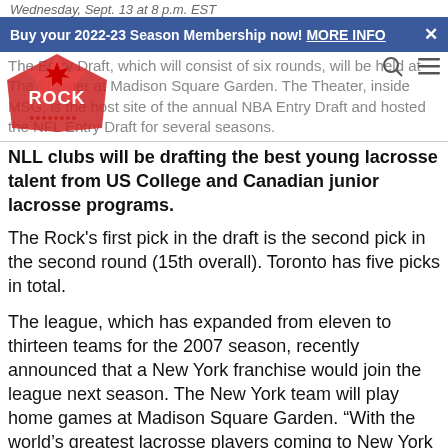Wednesday, Sept. 13 at 8 p.m. EST
Buy your 2022-23 Season Membership now! MORE INFO
The Entry Draft, which will consist of six rounds, will be held at The Theater at Madison Square Garden. The Theater, inside MSG, is the host site of the annual NBA Entry Draft and hosted the NFL Entry Draft for several seasons.
NLL clubs will be drafting the best young lacrosse talent from US College and Canadian junior lacrosse programs.
The Rock's first pick in the draft is the second pick in the second round (15th overall). Toronto has five picks in total.
The league, which has expanded from eleven to thirteen teams for the 2007 season, recently announced that a New York franchise would join the league next season. The New York team will play home games at Madison Square Garden. “With the world’s greatest lacrosse players coming to New York City this season, we decided it was the time to host the draft here in New York, and at Madison Square Garden,” said NLL Commissioner Jim Jennings. “Fans will